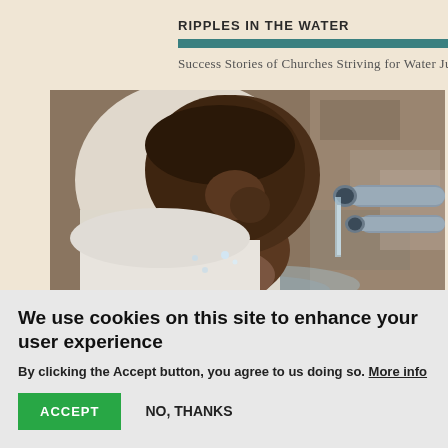RIPPLES IN THE WATER
Success Stories of Churches Striving for Water Justice
[Figure (photo): A young African child drinking water from an outdoor pipe tap, cupping hands under the stream of water. The child is leaning forward with eyes closed. Background shows a stone or concrete wall.]
We use cookies on this site to enhance your user experience
By clicking the Accept button, you agree to us doing so. More info
ACCEPT
NO, THANKS